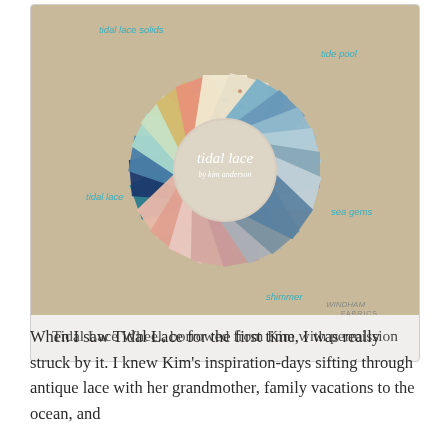[Figure (photo): A circular arrangement ('wheel') of fabric swatches from the Tidal Lace fabric collection by Kim Anderson. The fabrics are fanned out in a circle showing various colors and patterns including solids, lace prints, and a sea-themed print. Labels on the image identify: 'tidal lace solids' (top left), 'tide pool' (top right), 'tidal lace' (middle left), 'sea gems' (middle right), 'shimmer' (bottom center). The Windham Fabrics logo appears at the bottom right. The center of the wheel shows a circular opening with the text 'tidal lace by kim anderson'.]
Tidal Lace Wheel, borrowed from Kim with permission
When I saw Tidal Lace for the first time, I was really struck by it. I knew Kim's inspiration-days sifting through antique lace with her grandmother, family vacations to the ocean, and